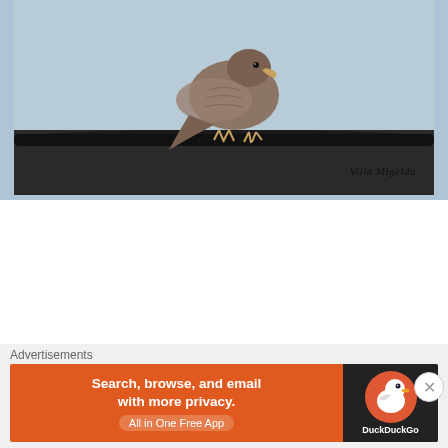[Figure (photo): Close-up photo of a bird perched on a wire/cable, shot from below against a light blue-gray sky. A watermark reading 'Villa Migelda' is visible in the lower right of the image.]
ANIMAL RIGHTS, COLOMBIA, COLOMBIAN LIFE, EXPAT LIFE, NATURE, NATURE SYMBOLISM, UNCATEGORIZED
A Local Rescue
Posted on June 27, 2017
https://dailypost.wordpress.com/prompts/local/
Advertisements
[Figure (screenshot): DuckDuckGo advertisement banner. Left orange section reads 'Search, browse, and email with more privacy. All in One Free App'. Right dark section shows the DuckDuckGo duck logo.]